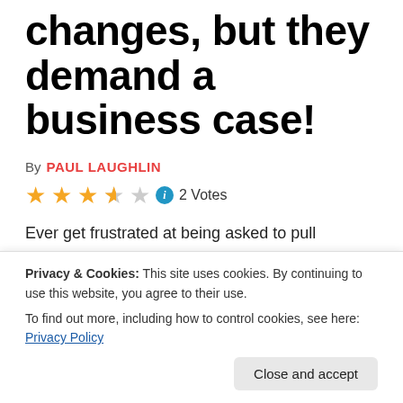changes, but they demand a business case!
By PAUL LAUGHLIN
★★★★☆ ⓘ 2 Votes
Ever get frustrated at being asked to pull together a business case for what appears to obviously be the right thing to do?
If so, you should enjoy this one, our latest guest blog
Privacy & Cookies: This site uses cookies. By continuing to use this website, you agree to their use.
To find out more, including how to control cookies, see here: Privacy Policy
change is needed but a business case is demanded...